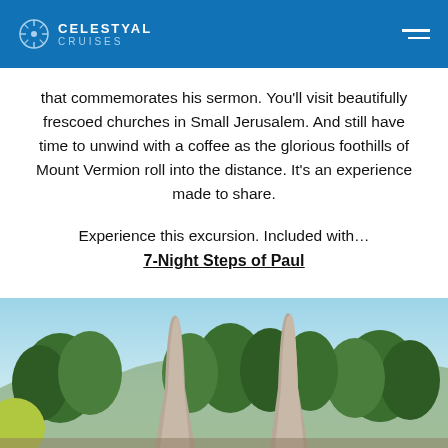CELESTYAL CRUISES
that commemorates his sermon. You'll visit beautifully frescoed churches in Small Jerusalem. And still have time to unwind with a coffee as the glorious foothills of Mount Vermion roll into the distance. It's an experience made to share.
Experience this excursion. Included with...
7-Night Steps of Paul
[Figure (photo): Outdoor photo showing two tall narrow stone or concrete monolith sculptures pointing upward, with green coniferous trees in the background and a hilly landscape under a clear sky.]